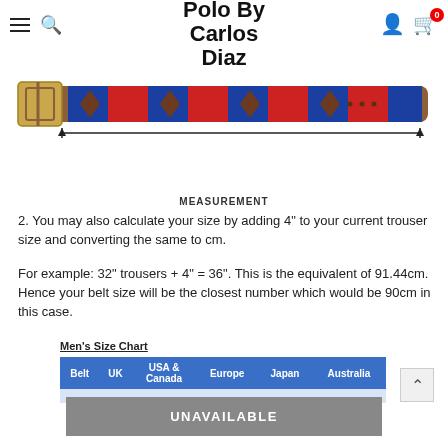Polo By Carlos Diaz
[Figure (illustration): Product photo of a polo belt with blue and red woven pattern and gold buckle, with measurement arrows spanning the full length, labeled MEASUREMENT]
MEASUREMENT
2. You may also calculate your size by adding 4" to your current trouser size and converting the same to cm.
For example: 32" trousers + 4" = 36". This is the equivalent of 91.44cm. Hence your belt size will be the closest number which would be 90cm in this case.
Men's Size Chart
| Belt | UK | USA & Canada | Europe | Japan | Australia |
| --- | --- | --- | --- | --- | --- |